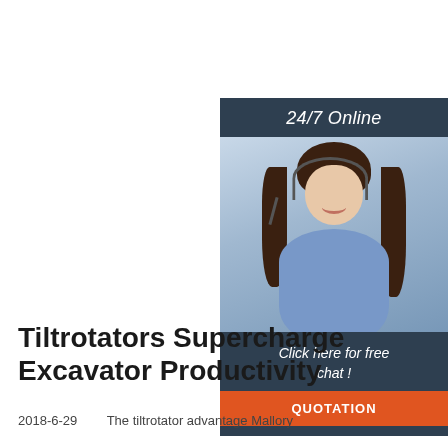[Figure (other): Advertisement banner: dark header with '24/7 Online' text, photo of smiling woman with headset, dark footer with 'Click here for free chat!' text and orange 'QUOTATION' button.]
Tiltrotators Supercharge Excavator Productivity
2018-6-29u2003 u2003The tiltrotator advantage Mallory